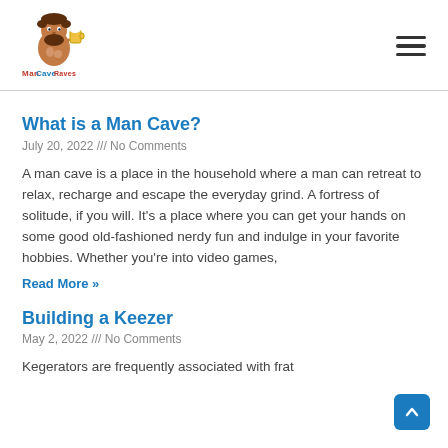[Figure (logo): Man Cave Raves logo with cartoon caveman holding a beer mug]
What is a Man Cave?
July 20, 2022 /// No Comments
A man cave is a place in the household where a man can retreat to relax, recharge and escape the everyday grind. A fortress of solitude, if you will. It's a place where you can get your hands on some good old-fashioned nerdy fun and indulge in your favorite hobbies. Whether you're into video games,
Read More »
Building a Keezer
May 2, 2022 /// No Comments
Kegerators are frequently associated with frat